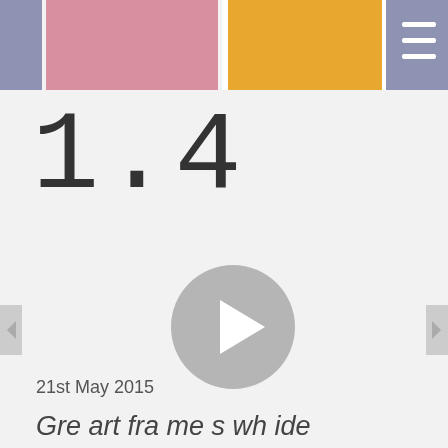[Figure (other): Website header with colored rectangular blocks: blue-gray, pink, white gap, gold/amber, blue-gray, and a hamburger menu icon on the right]
1.4
[Figure (other): Gray circular play button icon in the center of the page]
21st May 2015
Gre art fra me s wh ide